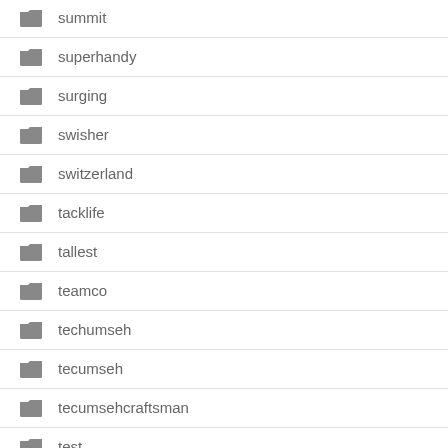summit
superhandy
surging
swisher
switzerland
tacklife
tallest
teamco
techumseh
tecumseh
tecumsehcraftsman
test
testing